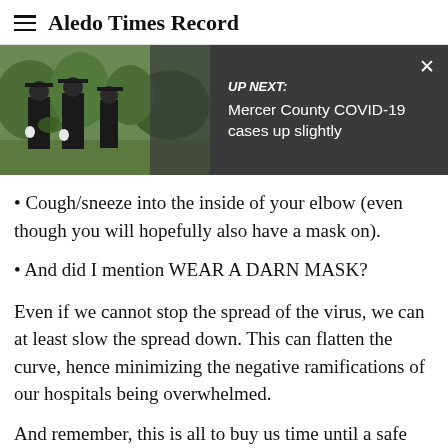Aledo Times Record
[Figure (screenshot): Up Next banner with photo of police officers at a ceremony, dark overlay with text: UP NEXT: Mercer County COVID-19 cases up slightly, and an X close button]
Cough/sneeze into the inside of your elbow (even though you will hopefully also have a mask on).
And did I mention WEAR A DARN MASK?
Even if we cannot stop the spread of the virus, we can at least slow the spread down. This can flatten the curve, hence minimizing the negative ramifications of our hospitals being overwhelmed.
And remember, this is all to buy us time until a safe and efficacious vaccine becomes widely